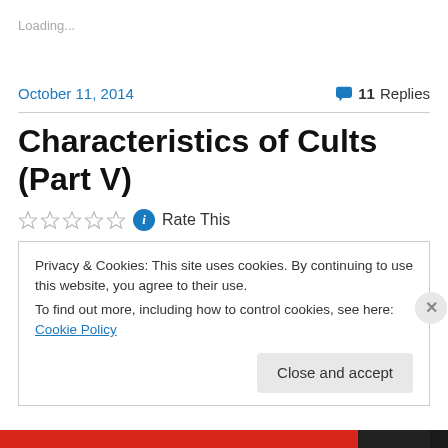Loading...
October 11, 2014
11 Replies
Characteristics of Cults (Part V)
Rate This
Privacy & Cookies: This site uses cookies. By continuing to use this website, you agree to their use.
To find out more, including how to control cookies, see here: Cookie Policy
Close and accept